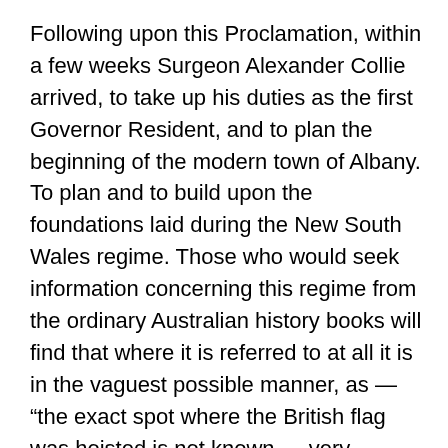Following upon this Proclamation, within a few weeks Surgeon Alexander Collie arrived, to take up his duties as the first Governor Resident, and to plan the beginning of the modern town of Albany. To plan and to build upon the foundations laid during the New South Wales regime. Those who would seek information concerning this regime from the ordinary Australian history books will find that where it is referred to at all it is in the vaguest possible manner, as — “the exact spot where the British flag was hoisted is not known — very meagre information concerning the little settlement is available — very little progress was made during the four years of its existence — no practical result ensued.”
These statement are all quite wrong, as a wealth of official and other reliable records of eyewitnesses chronicle the substantial achievements of the three